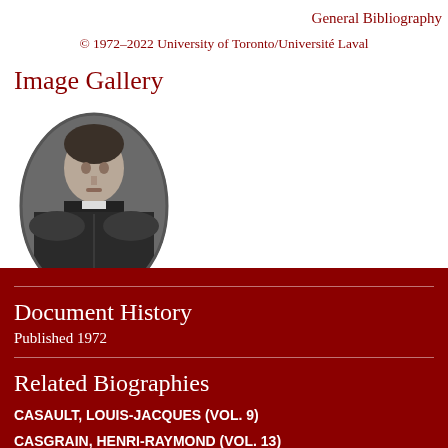General Bibliography
© 1972–2022 University of Toronto/Université Laval
Image Gallery
[Figure (photo): Oval black and white portrait photograph of a man in clerical dress]
Document History
Published 1972
Related Biographies
CASAULT, LOUIS-JACQUES (VOL. 9)
CASGRAIN, HENRI-RAYMOND (VOL. 13)